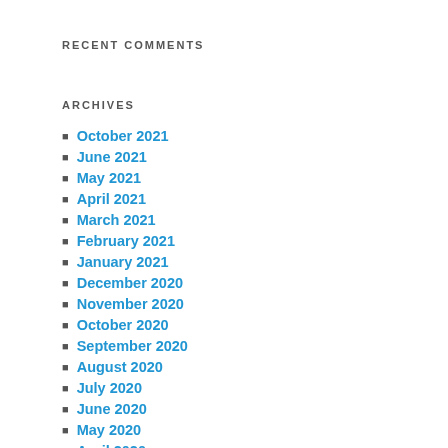RECENT COMMENTS
ARCHIVES
October 2021
June 2021
May 2021
April 2021
March 2021
February 2021
January 2021
December 2020
November 2020
October 2020
September 2020
August 2020
July 2020
June 2020
May 2020
April 2020